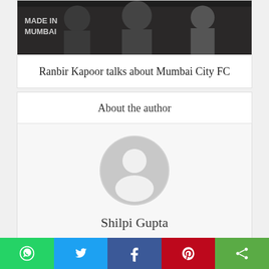[Figure (photo): Partial photo of people at an event with 'MADE IN MUMBAI' text visible in background, dark background]
Ranbir Kapoor talks about Mumbai City FC
About the author
[Figure (illustration): Default user avatar — grey circle with white silhouette of a person (head and shoulders)]
Shilpi Gupta
Food Technologist by Profession and Blogger by Destiny. love to write articles on food technology, spirituality and